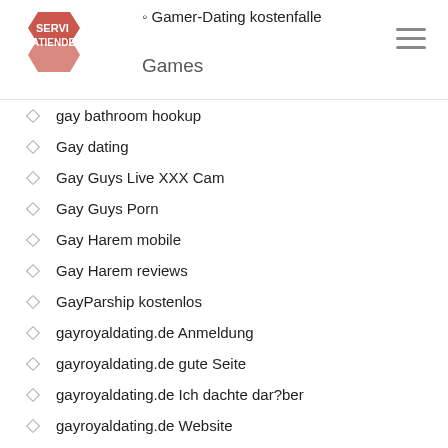Gamer-Dating kostenfalle | Games
gay bathroom hookup
Gay dating
Gay Guys Live XXX Cam
Gay Guys Porn
Gay Harem mobile
Gay Harem reviews
GayParship kostenlos
gayroyaldating.de Anmeldung
gayroyaldating.de gute Seite
gayroyaldating.de Ich dachte dar?ber
gayroyaldating.de Website
Geek Dating Sites apps
Geek2geek log in
Geek2geek profile
generator hookup to panel
Georgia Online Payday Loan